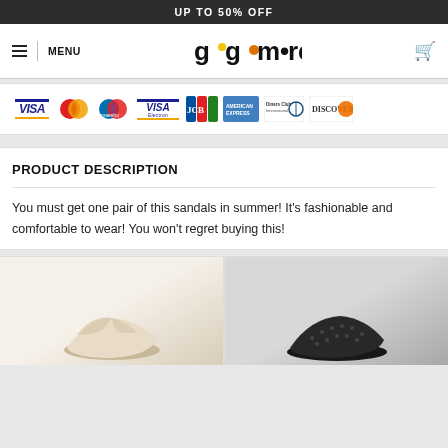UP TO 50% OFF
[Figure (screenshot): Navigation bar with hamburger menu, MENU label, gogomore logo, and shopping cart icon]
[Figure (other): Payment card logos: VISA, Mastercard, Maestro, VISA Electron, JCB, American Express, Diners Club International, Discover]
PRODUCT DESCRIPTION
You must get one pair of this sandals in summer! It's fashionable and comfortable to wear! You won't regret buying this!
[Figure (photo): Two product photos of sandals side by side - beige/cream sandal on left, black sandal on right, both partially visible]